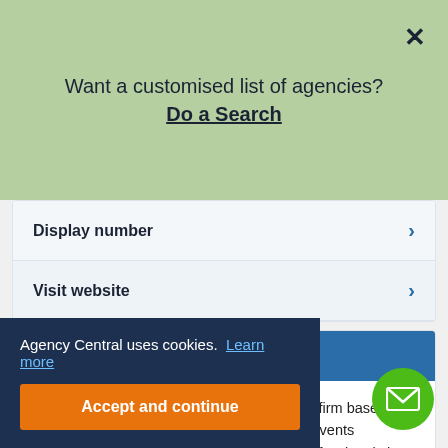Want a customised list of agencies? Do a Search
Display number
Visit website
Fuze Recruitment
Fuze Recruitment is an independent staffing firm based in London specialising in the Experiential and Events industries. They collaborate with talented professionals in the areas of Creative, Production, Client Services, Staffing, and Logistics. The agency [el for the best] [agencies in the L...]
3JR
Agency Central uses cookies. Learn more
Accept and continue